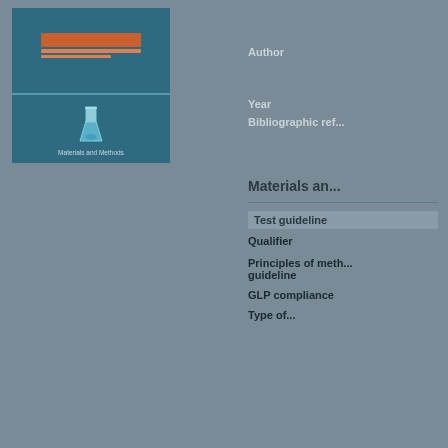[Figure (illustration): Book cover with teal/dark blue background, showing a flask icon and a highlighted orange/red title bar. Subtitle text reads 'Materials and Methods' at the bottom.]
Author
Year
Bibliographic ref...
Materials an...
Test guideline
Qualifier
Principles of meth... guideline
GLP compliance
Type of...